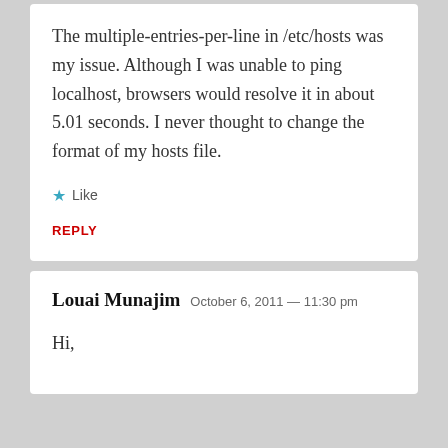The multiple-entries-per-line in /etc/hosts was my issue. Although I was unable to ping localhost, browsers would resolve it in about 5.01 seconds. I never thought to change the format of my hosts file.
★ Like
REPLY
Louai Munajim  October 6, 2011 — 11:30 pm
Hi,